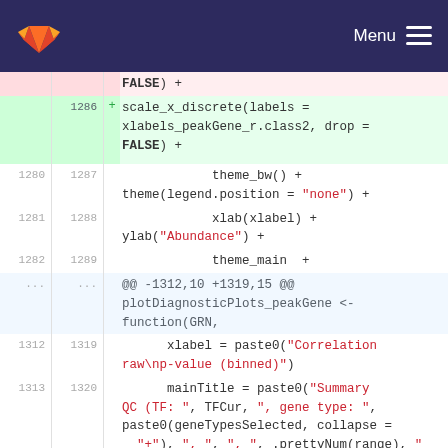GitLab — Menu
Code diff view showing changes to R code for plotDiagnosticPlots_peakGene function. Lines 1286-1289 added (scale_x_discrete, theme_bw, theme, xlab, ylab, theme_main). Lines 1280-1282/1287-1289 context. Hunk @@ -1312,10 +1319,15 @@ plotDiagnosticPlots_peakGene <- function(GRN, ... Lines 1312/1319 xlabel = paste0("Correlation raw\np-value (binned)"), 1313/1320 mainTitle = paste0("Summary QC (TF: ", TFCur, ", gene type: ", paste0(geneTypesSelected, collapse = "+"), ", ", .prettyNum(range), " bp promoter range")